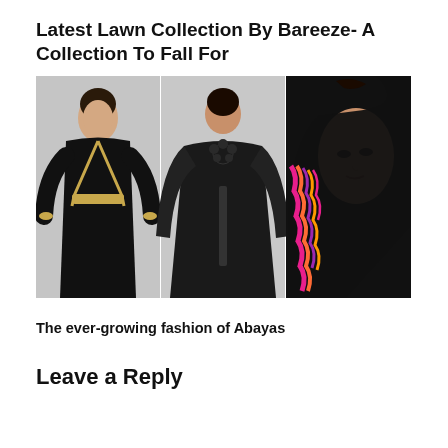Latest Lawn Collection By Bareeze- A Collection To Fall For
[Figure (photo): Three women wearing black abayas: left model wears a black abaya with gold trim and belt, center model wears a black abaya with floral neckline and wide sleeves, right model is a close-up showing a black abaya/hijab with colorful pink and orange wave embroidery on the shoulder.]
The ever-growing fashion of Abayas
Leave a Reply